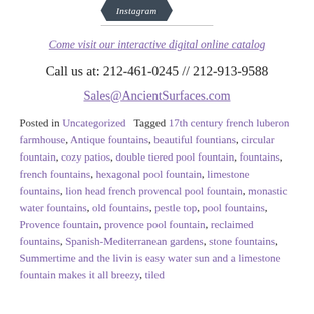[Figure (logo): Instagram badge/button in dark teal hexagonal shape with white italic text 'Instagram']
Come visit our interactive digital online catalog
Call us at: 212-461-0245 // 212-913-9588
Sales@AncientSurfaces.com
Posted in Uncategorized   Tagged 17th century french luberon farmhouse, Antique fountains, beautiful fountians, circular fountain, cozy patios, double tiered pool fountain, fountains, french fountains, hexagonal pool fountain, limestone fountains, lion head french provencal pool fountain, monastic water fountains, old fountains, pestle top, pool fountains, Provence fountain, provence pool fountain, reclaimed fountains, Spanish-Mediterranean gardens, stone fountains, Summertime and the livin is easy water sun and a limestone fountain makes it all breezy, tiled